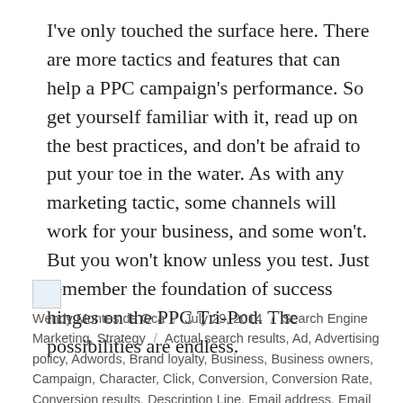I've only touched the surface here. There are more tactics and features that can help a PPC campaign's performance. So get yourself familiar with it, read up on the best practices, and don't be afraid to put your toe in the water. As with any marketing tactic, some channels will work for your business, and some won't. But you won't know unless you test. Just remember the foundation of success hinges on the PPC Tri-Pod. The possibilities are endless.
Wendy Montes de Oca / July 29, 2014 / Search Engine Marketing, Strategy / Actual search results, Ad, Advertising policy, Adwords, Brand loyalty, Business, Business owners, Campaign, Character, Click, Conversion, Conversion Rate, Conversion results, Description Line, Email address, Email addresses, End user, Goal, Google AdWords, In-house marketing leader, Keyword, Keyword